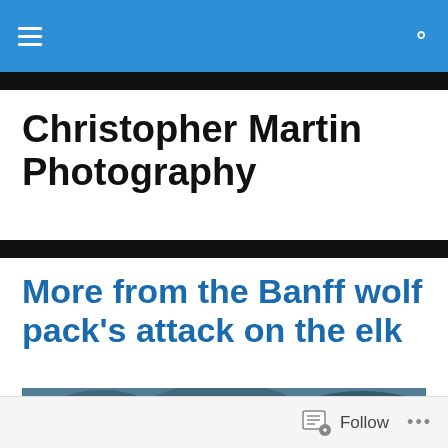Christopher Martin Photography
More from the Banff wolf pack’s attack on the elk
[Figure (photo): Outdoor wildlife photograph showing an elk and what appears to be a wolf or bird of prey in a blue-toned winter landscape with trees in the background]
Follow •••